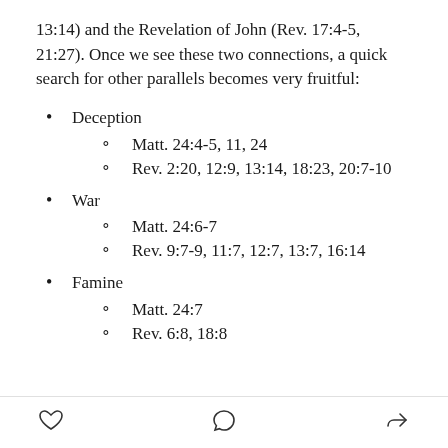13:14) and the Revelation of John (Rev. 17:4-5, 21:27). Once we see these two connections, a quick search for other parallels becomes very fruitful:
Deception
Matt. 24:4-5, 11, 24
Rev. 2:20, 12:9, 13:14, 18:23, 20:7-10
War
Matt. 24:6-7
Rev. 9:7-9, 11:7, 12:7, 13:7, 16:14
Famine
Matt. 24:7
Rev. 6:8, 18:8
[heart icon] [comment icon] [share icon]